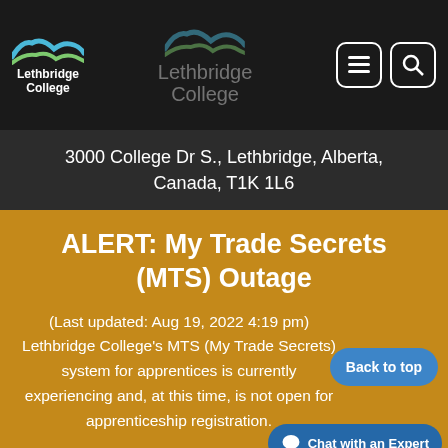[Figure (logo): Lethbridge College logo with swoosh graphic on dark header bar, plus centered faded logo and navigation icons]
3000 College Dr S., Lethbridge, Alberta, Canada, T1K 1L6
ALERT: My Trade Secrets (MTS) Outage
(Last updated: Aug 19, 2022 4:19 pm) Lethbridge College's MTS (My Trade Secrets) system for apprentices is currently experiencing and, at this time, is not open for apprenticeship registration.
Read more